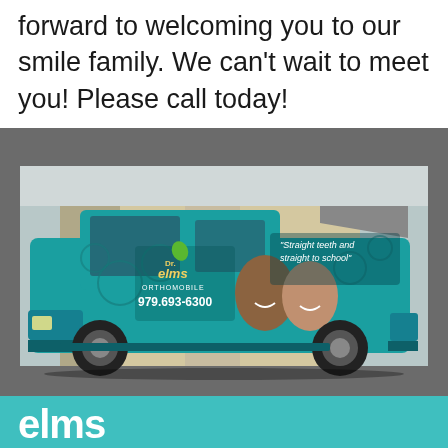forward to welcoming you to our smile family. We can't wait to meet you! Please call today!
[Figure (photo): A teal-wrapped Hummer H2 vehicle with Dr. Elms Orthomobile branding, showing the phone number 979.693-6300, the tagline 'Straight teeth and straight to school', and photos of children with braces, parked in front of a building.]
elms